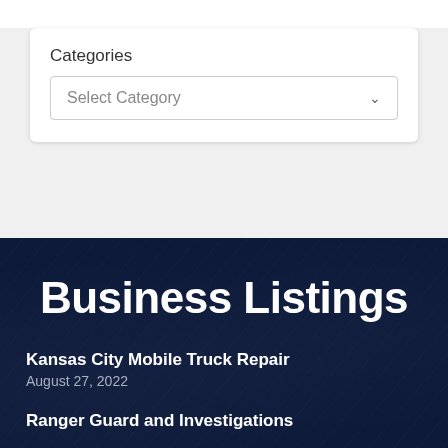Categories
Select Category
Business Listings
Kansas City Mobile Truck Repair
August 27, 2022
Ranger Guard and Investigations